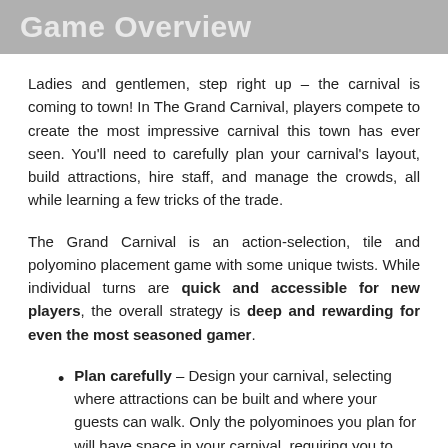Game Overview
Ladies and gentlemen, step right up – the carnival is coming to town! In The Grand Carnival, players compete to create the most impressive carnival this town has ever seen. You'll need to carefully plan your carnival's layout, build attractions, hire staff, and manage the crowds, all while learning a few tricks of the trade.
The Grand Carnival is an action-selection, tile and polyomino placement game with some unique twists. While individual turns are quick and accessible for new players, the overall strategy is deep and rewarding for even the most seasoned gamer.
Plan carefully – Design your carnival, selecting where attractions can be built and where your guests can walk. Only the polyominoes you plan for will have space in your carnival, requiring you to think several